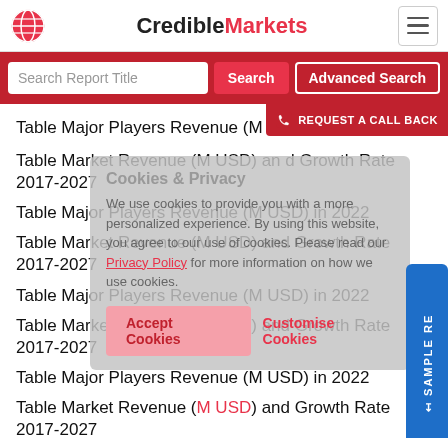CredibleMarkets
Search Report Title | Search | Advanced Search
Table Major Players Revenue (M USD) in 2022
Table Market Revenue (M USD) and Growth Rate 2017-2027
Table Major Players Revenue (M USD) in 2022
Table Market Revenue (M USD) and Growth Rate 2017-2027
Table Major Players Revenue (M USD) in 2022
Table Market Revenue (M USD) and Growth Rate 2017-2027
Table Major Players Revenue (M USD) in 2022
Table Market Revenue (M USD) and Growth Rate 2017-2027
Table Major Players Revenue (M USD) in 2022
Table Major Production Market share by Players